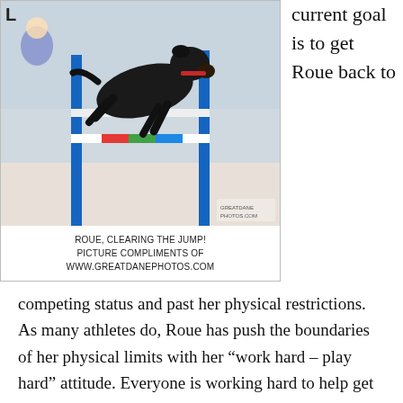[Figure (photo): A black Rottweiler dog leaping over an agility jump bar with blue poles, caught mid-air in an indoor agility competition. People visible in background.]
ROUE, CLEARING THE JUMP!
PICTURE COMPLIMENTS OF
WWW.GREATDANEPHOTOS.COM
current goal is to get Roue back to
competing status and past her physical restrictions. As many athletes do, Roue has push the boundaries of her physical limits with her “work hard – play hard” attitude. Everyone is working hard to help get her back on track and once that happens, the plan is to keep her good shape and minimize any pain as issues arise. Pat is diligent and mindful of what Roue needs to help her recover and never hesitates to give her all that she